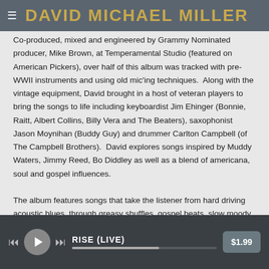☰  DAVID MICHAEL MILLER
Co-produced, mixed and engineered by Grammy Nominated producer, Mike Brown, at Temperamental Studio (featured on American Pickers), over half of this album was tracked with pre-WWII instruments and using old mic'ing techniques.  Along with the vintage equipment, David brought in a host of veteran players to bring the songs to life including keyboardist Jim Ehinger (Bonnie, Raitt, Albert Collins, Billy Vera and The Beaters), saxophonist Jason Moynihan (Buddy Guy) and drummer Carlton Campbell (of The Campbell Brothers).  David explores songs inspired by Muddy Waters, Jimmy Reed, Bo Diddley as well as a blend of americana, soul and gospel influences.
The album features songs that take the listener from hard driving acoustic blues, through greasy shuffles, gospel beats, slow moody  ballads, on to funky blues rock and concluding with a heart wrenching song written to honor his grandfather who passed on during the recording of the album.
RISE (LIVE)  $1.99